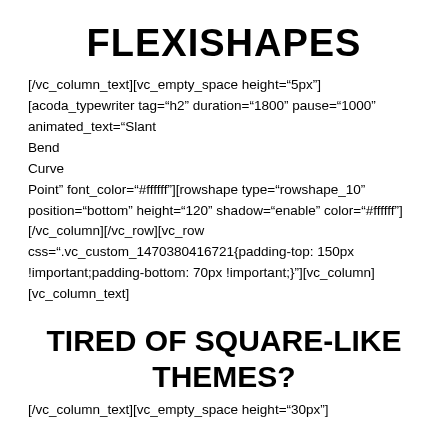FLEXISHAPES
[/vc_column_text][vc_empty_space height="5px"] [acoda_typewriter tag="h2" duration="1800" pause="1000" animated_text="Slant
Bend
Curve
Point" font_color="#ffffff"][rowshape type="rowshape_10" position="bottom" height="120" shadow="enable" color="#ffffff"] [/vc_column][/vc_row][vc_row css=".vc_custom_1470380416721{padding-top: 150px !important;padding-bottom: 70px !important;}"][vc_column] [vc_column_text]
TIRED OF SQUARE-LIKE THEMES?
[/vc_column_text][vc_empty_space height="30px"]